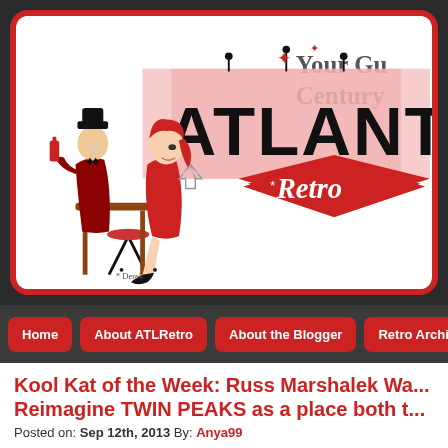[Figure (illustration): Atlanta Retro website banner/logo featuring a retro-style illustration of a man and woman at a bar, with the text 'ATLANTA Retro' in bold retro lettering on a white rounded-rectangle sign with red border. Partially visible text reads 'Your Gu... Century...' on the right side.]
Home | About ATLRetro | About the Blogger | Retro Archives
Kool Kat of the Week: Russ Marshalek Wa... Reimagine TWIN PEAKS as a place both t...
Posted on: Sep 12th, 2013 By: Anya99
When TWIN PEAKS: FIRE WALK WITH ME